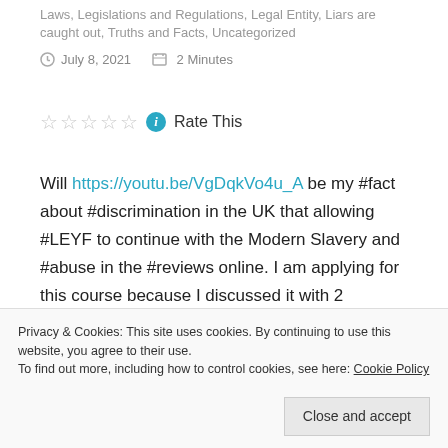Laws, Legislations and Regulations, Legal Entity, Liars are caught out, Truths and Facts, Uncategorized
July 8, 2021   2 Minutes
Rate This
Will https://youtu.be/VgDqkVo4u_A be my #fact about #discrimination in the UK that allowing #LEYF to continue with the Modern Slavery and #abuse in the #reviews online. I am applying for this course because I discussed it with 2 professors Dr. Chris Pascal and Tony
Privacy & Cookies: This site uses cookies. By continuing to use this website, you agree to their use.
To find out more, including how to control cookies, see here: Cookie Policy
ideal for the part of SENCO from an old CV online. I